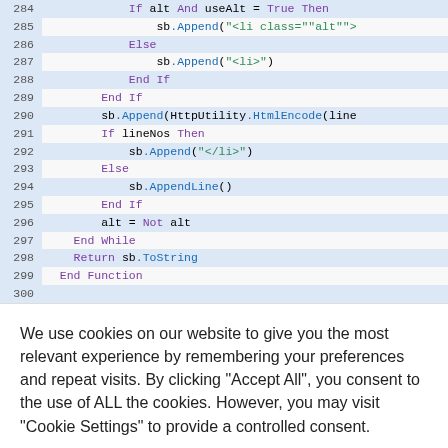[Figure (screenshot): Code editor screenshot showing Visual Basic .NET code lines 284-300 with syntax highlighting. Purple keywords, blue method calls, green string literals.]
We use cookies on our website to give you the most relevant experience by remembering your preferences and repeat visits. By clicking “Accept All”, you consent to the use of ALL the cookies. However, you may visit “Cookie Settings” to provide a controlled consent.
Cookie Settings   Accept All